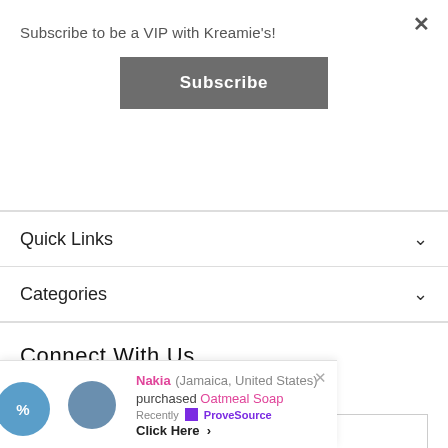Subscribe to be a VIP with Kreamie's!
Subscribe
Quick Links
Categories
Connect With Us
Sign Up for our Newsletter
Join our Newsletter...
Nakia (Jamaica, United States) purchased Oatmeal Soap Recently ✓ ProveSource Click Here >